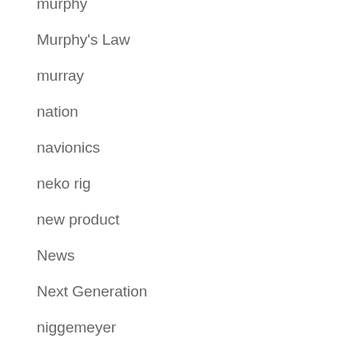murphy
Murphy's Law
murray
nation
navionics
neko rig
new product
News
Next Generation
niggemeyer
no tear
opens
Other-B A S S